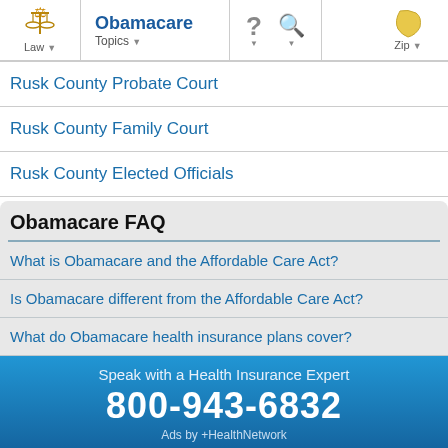[Figure (screenshot): Navigation bar with Law icon, Obamacare title and Topics dropdown, question mark and search icons, and Zip icon]
Rusk County Probate Court
Rusk County Family Court
Rusk County Elected Officials
Obamacare FAQ
What is Obamacare and the Affordable Care Act?
Is Obamacare different from the Affordable Care Act?
What do Obamacare health insurance plans cover?
Will I be penalized if I don't have health insurance?
Speak with a Health Insurance Expert
800-943-6832
Ads by +HealthNetwork